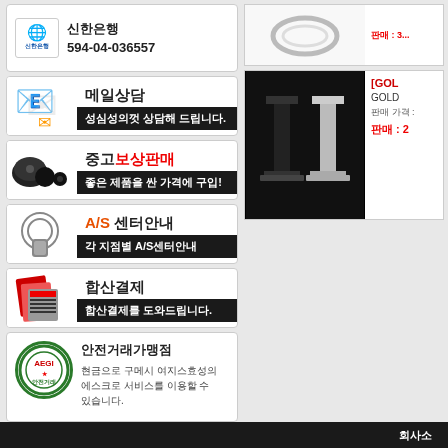신한은행
594-04-036557
[Figure (infographic): 메일상담 banner with email icon and text '성심성의껏 상담해 드립니다.']
[Figure (infographic): 중고보상판매 banner with speaker icon and text '좋은 제품을 싼 가격에 구입!']
[Figure (infographic): A/S 센터안내 banner with lock icon and text '각 지점별 A/S센터안내']
[Figure (infographic): 합산결제 banner with calculator icon and text '합산결제를 도와드립니다.']
[Figure (infographic): 안전거래가맹점 section with AEGI logo]
안전거래가맹점
현금으로 구메시 여지스효성의 에스크로 서비스를 이용할 수 있습니다.
[Figure (photo): Product image showing black and grey speaker stands on dark background]
[GOL...
GOLD...
판매 가격 : ...
판매 : 2...
회사소